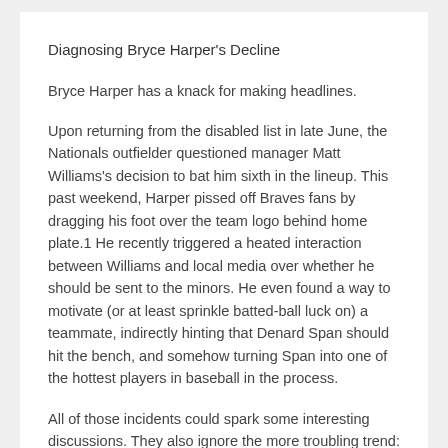Diagnosing Bryce Harper's Decline
Bryce Harper has a knack for making headlines.
Upon returning from the disabled list in late June, the Nationals outfielder questioned manager Matt Williams's decision to bat him sixth in the lineup. This past weekend, Harper pissed off Braves fans by dragging his foot over the team logo behind home plate.1 He recently triggered a heated interaction between Williams and local media over whether he should be sent to the minors. He even found a way to motivate (or at least sprinkle batted-ball luck on) a teammate, indirectly hinting that Denard Span should hit the bench, and somehow turning Span into one of the hottest players in baseball in the process.
All of those incidents could spark some interesting discussions. They also ignore the more troubling trend: Harper has played poorly this season, and compared to his historical peers — the other players who broke into the big